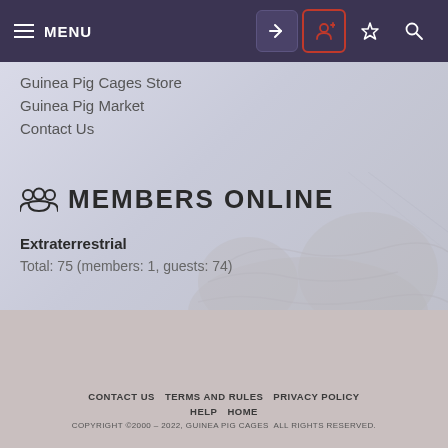MENU
Guinea Pig Cages Store
Guinea Pig Market
Contact Us
MEMBERS ONLINE
Extraterrestrial
Total: 75 (members: 1, guests: 74)
CONTACT US  TERMS AND RULES  PRIVACY POLICY  HELP  HOME
COPYRIGHT ©2000 – 2022, GUINEA PIG CAGES  ALL RIGHTS RESERVED.